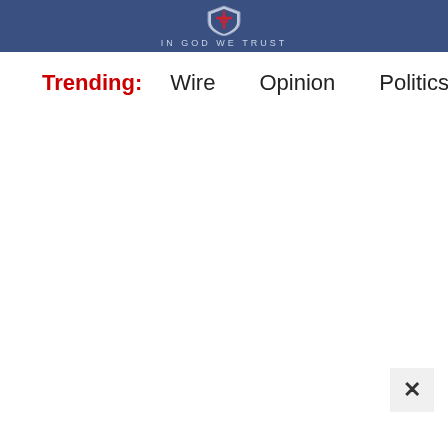IN GOD WE TRUST
Trending:  Wire  Opinion  Politics  Schaftlein R